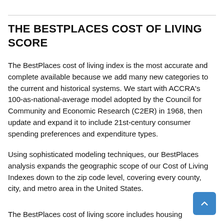THE BESTPLACES COST OF LIVING SCORE
The BestPlaces cost of living index is the most accurate and complete available because we add many new categories to the current and historical systems. We start with ACCRA's 100-as-national-average model adopted by the Council for Community and Economic Research (C2ER) in 1968, then update and expand it to include 21st-century consumer spending preferences and expenditure types.
Using sophisticated modeling techniques, our BestPlaces analysis expands the geographic scope of our Cost of Living Indexes down to the zip code level, covering every county, city, and metro area in the United States.
The BestPlaces cost of living score includes housing